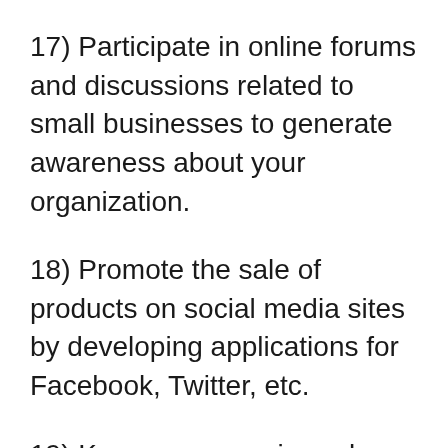17) Participate in online forums and discussions related to small businesses to generate awareness about your organization.
18) Promote the sale of products on social media sites by developing applications for Facebook, Twitter, etc.
19) Keep your premises clean, well equipped with the required amenities and facilities so that your customers can have all their shopping requirements met while spending time in your